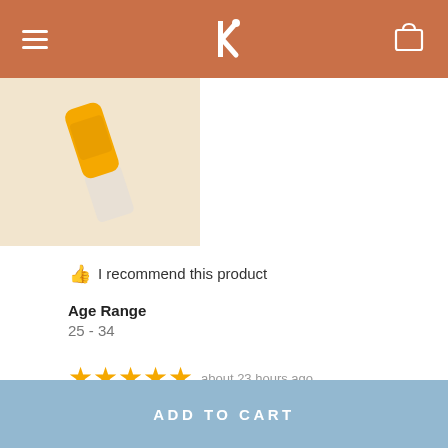Kiehl's (logo and navigation header)
[Figure (photo): Partial view of a yellow/orange product tube (skincare) on a cream/beige background]
👍 I recommend this product
Age Range
25 - 34
★★★★★ about 23 hours ago
Love it
Amazing, I glow
ADD TO CART